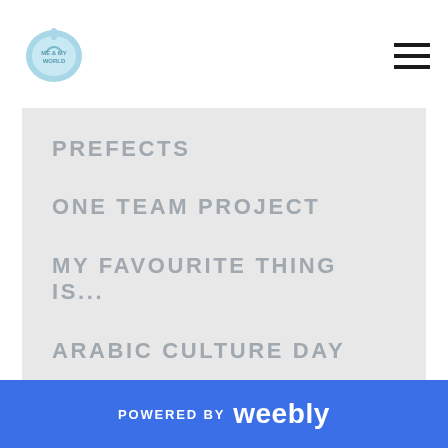Logo and hamburger navigation menu
PREFECTS
ONE TEAM PROJECT
MY FAVOURITE THING IS...
ARABIC CULTURE DAY
ART WORKSHOPS
POWERED BY weebly